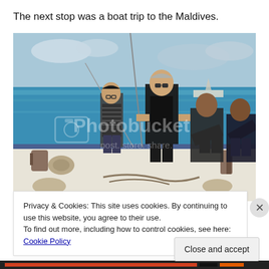The next stop was a boat trip to the Maldives.
[Figure (photo): Four people standing on the deck of a boat at sea near the Maldives. The ocean is turquoise-blue in the background. A Photobucket watermark is visible on the image.]
Privacy & Cookies: This site uses cookies. By continuing to use this website, you agree to their use.
To find out more, including how to control cookies, see here: Cookie Policy
Close and accept